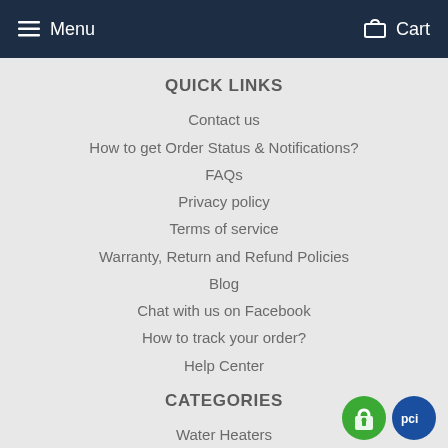Menu  Cart
QUICK LINKS
Contact us
How to get Order Status & Notifications?
FAQs
Privacy policy
Terms of service
Warranty, Return and Refund Policies
Blog
Chat with us on Facebook
How to track your order?
Help Center
CATEGORIES
Water Heaters
[Figure (logo): Two security/trust badge icons: a green padlock badge and a blue PCI badge]